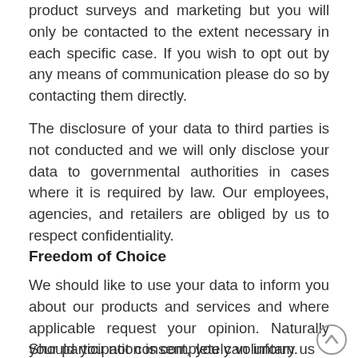product surveys and marketing but you will only be contacted to the extent necessary in each specific case. If you wish to opt out by any means of communication please do so by contacting them directly.
The disclosure of your data to third parties is not conducted and we will only disclose your data to governmental authorities in cases where it is required by law. Our employees, agencies, and retailers are obliged by us to respect confidentiality.
Freedom of Choice
We should like to use your data to inform you about our products and services and where applicable request your opinion. Naturally your participation is completely voluntary.
Should you not consent, you can inform us at any time